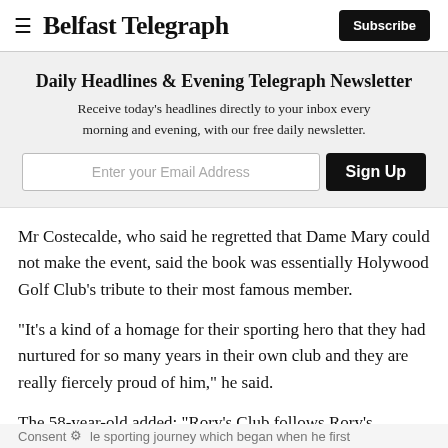≡ Belfast Telegraph | Subscribe
Daily Headlines & Evening Telegraph Newsletter
Receive today's headlines directly to your inbox every morning and evening, with our free daily newsletter.
Mr Costecalde, who said he regretted that Dame Mary could not make the event, said the book was essentially Holywood Golf Club's tribute to their most famous member.
"It's a kind of a homage for their sporting hero that they had nurtured for so many years in their own club and they are really fiercely proud of him," he said.
The 58-year-old added: "Rory's Club follows Rory's ble sporting journey which began when he first